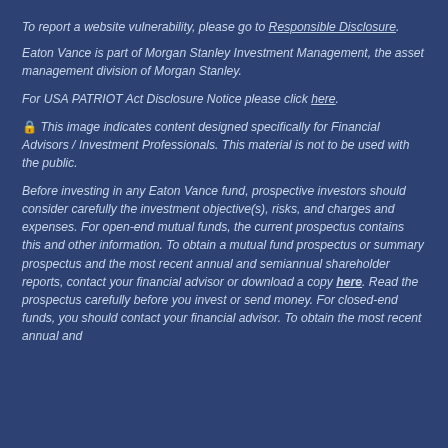To report a website vulnerability, please go to Responsible Disclosure.
Eaton Vance is part of Morgan Stanley Investment Management, the asset management division of Morgan Stanley.
For USA PATRIOT Act Disclosure Notice please click here.
🔒 This image indicates content designed specifically for Financial Advisors / Investment Professionals. This material is not to be used with the public.
Before investing in any Eaton Vance fund, prospective investors should consider carefully the investment objective(s), risks, and charges and expenses. For open-end mutual funds, the current prospectus contains this and other information. To obtain a mutual fund prospectus or summary prospectus and the most recent annual and semiannual shareholder reports, contact your financial advisor or download a copy here. Read the prospectus carefully before you invest or send money. For closed-end funds, you should contact your financial advisor. To obtain the most recent annual and